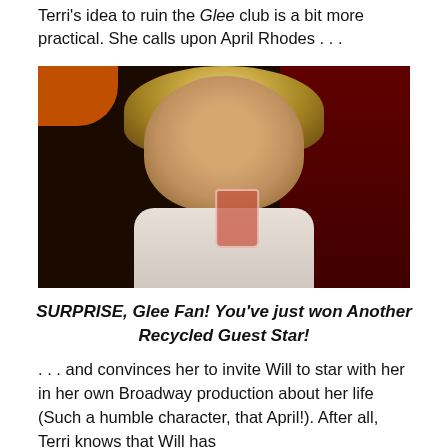Terri's idea to ruin the Glee club is a bit more practical. She calls upon April Rhodes . . .
[Figure (photo): A blonde woman holding a red cocktail drink, sitting in what appears to be a diner or bar setting with red booth seating in the background.]
SURPRISE, Glee Fan!  You've just won Another Recycled Guest Star!
. . .  and convinces her to invite Will to star with her in her own Broadway production about her life (Such a humble character, that April!).  After all, Terri knows that Will has